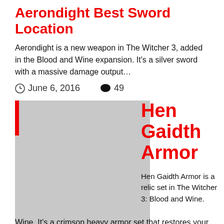Aerondight Best Sword Location
Aerondight is a new weapon in The Witcher 3, added in the Blood and Wine expansion. It's a silver sword with a massive damage output…
June 6, 2016   49
[Figure (photo): Gray placeholder image with red left border bar, representing a game screenshot or item image]
Hen Gaidth Armor
Hen Gaidth Armor is a relic set in The Witcher 3: Blood and Wine. It's a crimson heavy armor set that restores your vitality